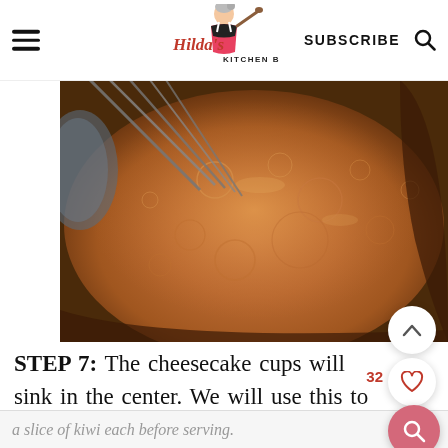Hilda's Kitchen Blog | SUBSCRIBE
[Figure (photo): Close-up of caramel or lime glaze bubbling in a pan with a whisk, viewed from above, warm golden-brown tones]
STEP 7: The cheesecake cups will sink in the center. We will use this to our advantage by filling the dips with the lime glaze and topping them with a slice of kiwi each before serving.